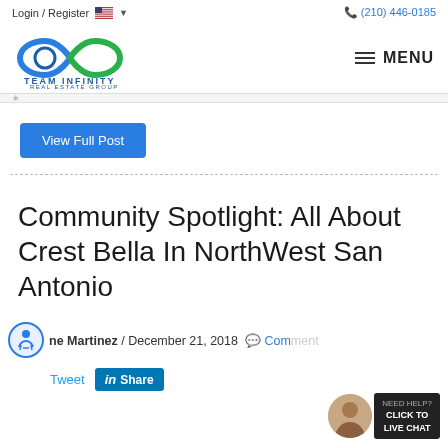Login / Register    (210) 446-0185
[Figure (logo): Team Infinity Real Estate Group logo — infinity symbol in blue and green with company name below]
MENU
View Full Post
Community Spotlight: All About Crest Bella In NorthWest San Antonio
ne Martinez / December 21, 2018  Comment
Tweet  in Share